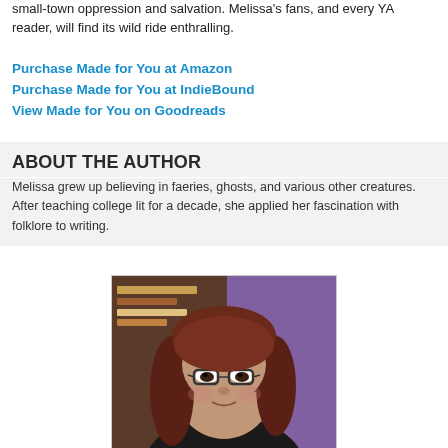small-town oppression and salvation. Melissa's fans, and every YA reader, will find its wild ride enthralling.
Purchase Made for You at Amazon
Purchase Made for You at IndieBound
View Made for You on Goodreads
ABOUT THE AUTHOR
Melissa grew up believing in faeries, ghosts, and various other creatures. After teaching college lit for a decade, she applied her fascination with folklore to writing.
[Figure (photo): Portrait photo of Melissa, a woman with reddish-brown hair, glasses, and a slight smile, in front of a purple wall with bookshelves visible in background.]